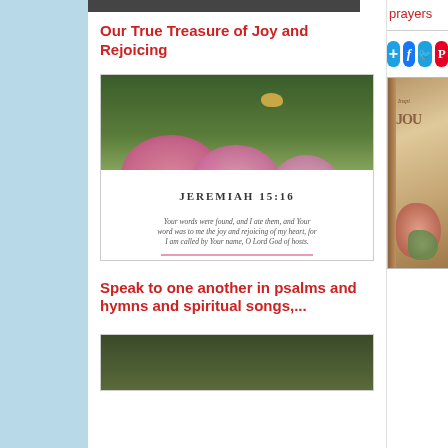[Figure (photo): Cropped top portion of a photo, dark tones]
Our True Treasure of Joy and Rejoicing
[Figure (photo): Inspirational image with bird on branch and pink flowers; Bible verse Jeremiah 15:16: 'Your words were found, and I ate them, and Your word was to me the joy and rejoicing of my heart, for I am called by Your name, O Lord God of hosts.']
Speak to one another in psalms and hymns and spiritual songs,...
[Figure (photo): Bottom portion of photo, dark green foliage]
prayers
[Figure (infographic): Social share buttons: Add (+), Facebook (f), Twitter bird, Pinterest (P)]
[Figure (photo): Photo of an inspirational journal book with floral cover design, text reads 'Inspi' and 'JOU']